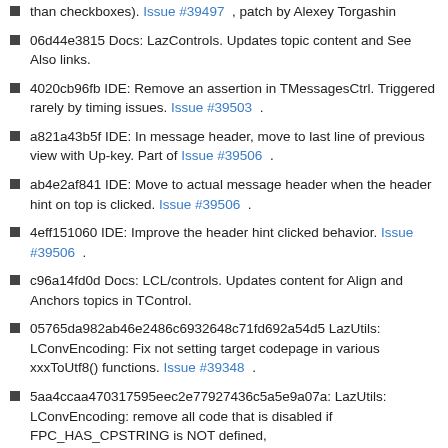than checkboxes). Issue #39497 , patch by Alexey Torgashin
06d44e3815 Docs: LazControls. Updates topic content and See Also links.
4020cb96fb IDE: Remove an assertion in TMessagesCtrl. Triggered rarely by timing issues. Issue #39503 .
a821a43b5f IDE: In message header, move to last line of previous view with Up-key. Part of Issue #39506 .
ab4e2af841 IDE: Move to actual message header when the header hint on top is clicked. Issue #39506 .
4eff151060 IDE: Improve the header hint clicked behavior. Issue #39506 .
c96a14fd0d Docs: LCL/controls. Updates content for Align and Anchors topics in TControl.
05765da982ab46e2486c6932648c71fd692a54d5 LazUtils: LConvEncoding: Fix not setting target codepage in various xxxToUtf8() functions. Issue #39348 .
5aa4ccaa470317595eec2e77927436c5a5e9a07a: LazUtils: LConvEncoding: remove all code that is disabled if FPC_HAS_CPSTRING is NOT defined,
01e627e35da5030ccea4406cffbdf5b67b85b0b9 LazUtils: LConvEncoding: change signature of TConvertEncodingFunction analogue to all XXXToUtf8() functions. Part of Issue #39348 .
153a562187177282f98ffbb41f259525eac4ddb0 LazUtf8: fix